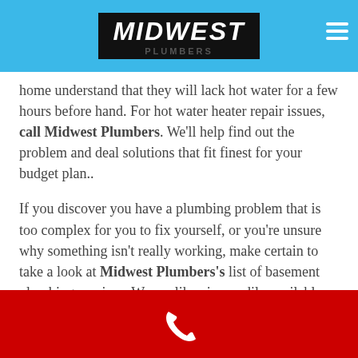MIDWEST PLUMBERS
home understand that they will lack hot water for a few hours before hand. For hot water heater repair issues, call Midwest Plumbers. We'll help find out the problem and deal solutions that fit finest for your budget plan..
If you discover you have a plumbing problem that is too complex for you to fix yourself, or you're unsure why something isn't really working, make certain to take a look at Midwest Plumbers's list of basement plumbing services. We are likewise readily available by phone for concerns and scheduling..
Additional Services
Water Heater and Floor Drain Cleaning
Phone contact footer